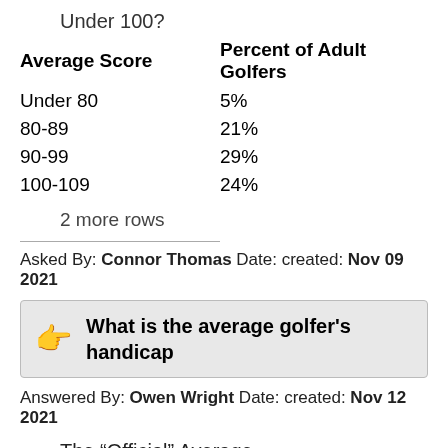Under 100?
| Average Score | Percent of Adult Golfers |
| --- | --- |
| Under 80 | 5% |
| 80-89 | 21% |
| 90-99 | 29% |
| 100-109 | 24% |
2 more rows
Asked By: Connor Thomas Date: created: Nov 09 2021
What is the average golfer's handicap
Answered By: Owen Wright Date: created: Nov 12 2021
The “Official” Average
The USGA says that the average golfer in its system carries about a 15.0